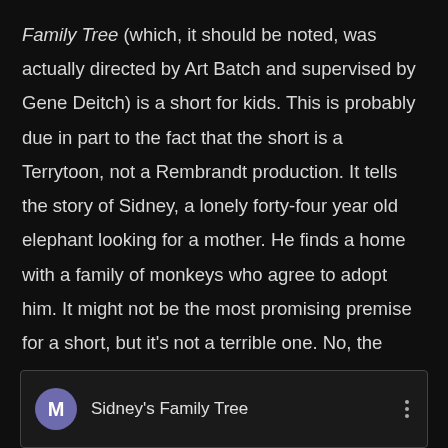Family Tree (which, it should be noted, was actually directed by Art Batch and supervised by Gene Deitch) is a short for kids. This is probably due in part to the fact that the short is a Terrytoon, not a Rembrandt production. It tells the story of Sidney, a lonely forty-four year old elephant looking for a mother. He finds a home with a family of monkeys who agree to adopt him. It might not be the most promising premise for a short, but it's not a terrible one. No, the problem with Sidney's Family Tree is in its execution. To put it bluntly, it's annoying. It's so, so fucking annoying.
[Figure (screenshot): Video card showing 'Sidney's Family Tree' with a purple avatar letter M and three-dot menu icon]